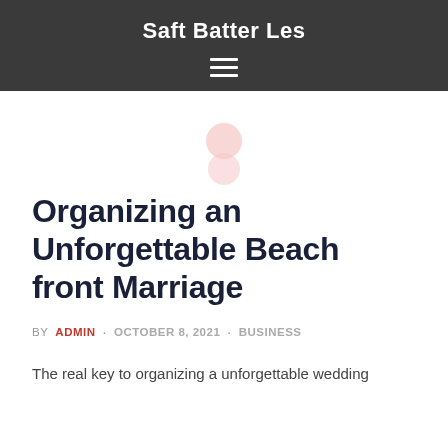Saft Batter Les
Organizing an Unforgettable Beach front Marriage
BY ADMIN · OCTOBER 8, 2021 · BUSINESS
The real key to organizing a unforgettable wedding